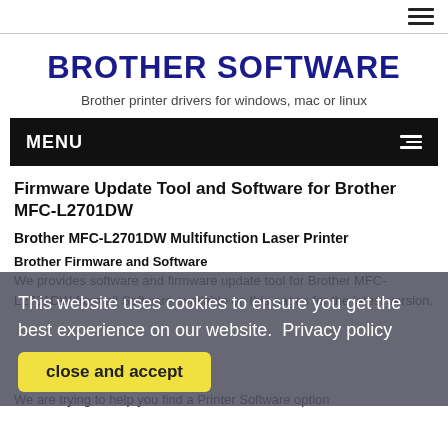BROTHER SOFTWARE — Brother printer drivers for windows, mac or linux
MENU
Firmware Update Tool and Software for Brother MFC-L2701DW
Brother MFC-L2701DW Multifunction Laser Printer
Brother Firmware and Software
We provides software and firmware update tool for Brother MFC-L2701DW from all Software available on this pages for the latest version.
We are trying to help you find a Printer Software option
This website uses cookies to ensure you get the best experience on our website.  Privacy policy
close and accept